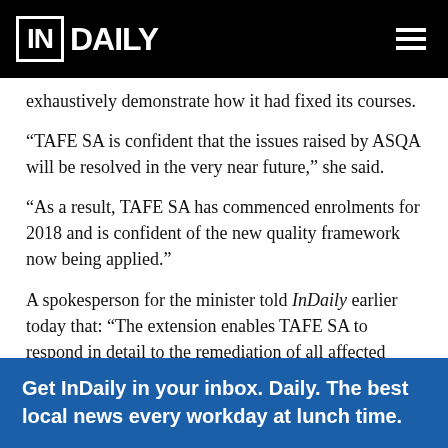IN DAILY
exhaustively demonstrate how it had fixed its courses.
“TAFE SA is confident that the issues raised by ASQA will be resolved in the very near future,” she said.
“As a result, TAFE SA has commenced enrolments for 2018 and is confident of the new quality framework now being applied.”
A spokesperson for the minister told InDaily earlier today that: “The extension enables TAFE SA to respond in detail to the remediation of all affected courses.”
Get InDaily in your inbox. Daily. The best local news every workday at lunch time.